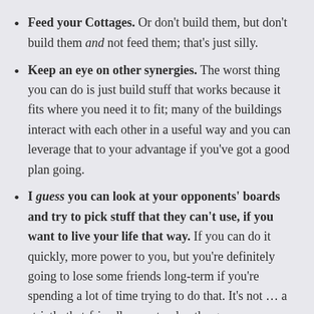Feed your Cottages. Or don't build them, but don't build them and not feed them; that's just silly.
Keep an eye on other synergies. The worst thing you can do is just build stuff that works because it fits where you need it to fit; many of the buildings interact with each other in a useful way and you can leverage that to your advantage if you've got a good plan going.
I guess you can look at your opponents' boards and try to pick stuff that they can't use, if you want to live your life that way. If you can do it quickly, more power to you, but you're definitely going to lose some friends long-term if you're spending a lot of time trying to do that. It's not … a strictly that-friendly way to play the game.